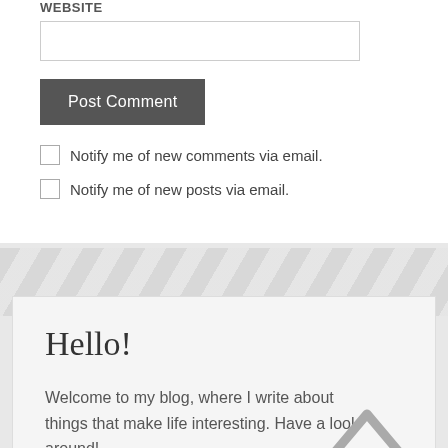WEBSITE
Post Comment
Notify me of new comments via email.
Notify me of new posts via email.
Hello!
Welcome to my blog, where I write about things that make life interesting. Have a look around!